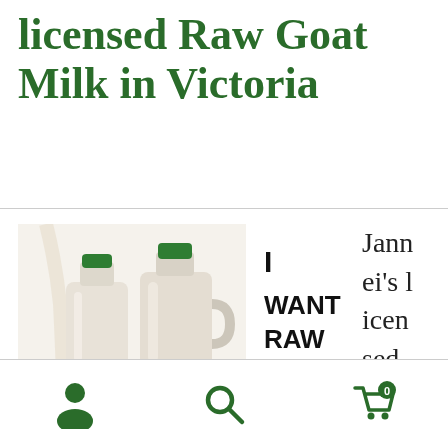licensed Raw Goat Milk in Victoria
[Figure (photo): Two white plastic jugs/bottles of goat milk with green lids on a white background, with milk being poured]
[Figure (photo): Text sign reading 'I WANT RAW GOAT' in bold black letters]
Jannei's licensed raw milk
Navigation bar with user/account icon, search icon, and shopping cart (0 items)